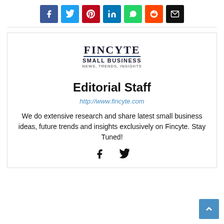[Figure (infographic): Social share buttons row: Facebook (purple-blue), Twitter (light blue), Pinterest (red), LinkedIn (dark blue), WhatsApp (green), Reddit (orange), Email (black)]
[Figure (logo): Fincyte Small Business News, Trends, Insights logo with serif text and underline]
Editorial Staff
http://www.fincyte.com
We do extensive research and share latest small business ideas, future trends and insights exclusively on Fincyte. Stay Tuned!
[Figure (infographic): Facebook and Twitter icon links at the bottom of the author card]